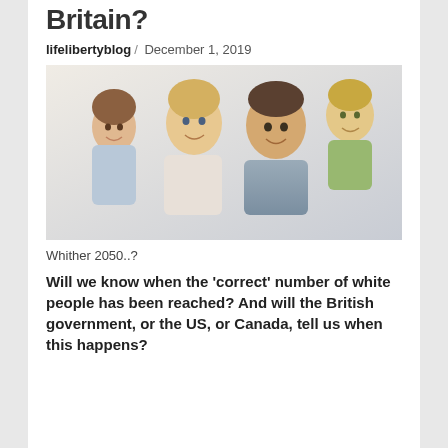White People in Britain?
lifelibertyblog / December 1, 2019
[Figure (photo): A smiling white family of four — mother, father, and two young children — posed together outdoors against a light background.]
Whither 2050..?
Will we know when the 'correct' number of white people has been reached? And will the British government, or the US, or Canada, tell us when this happens?